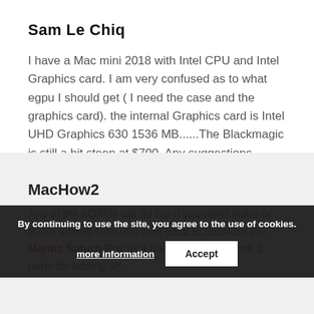Sam Le Chiq
I have a Mac mini 2018 with Intel CPU and Intel Graphics card. I am very confused as to what egpu I should get ( I need the case and the graphics card). the internal Graphics card is Intel UHD Graphics 630 1536 MB......The Blackmagic is still a bit steep at $700. Any suggestions. Thank you very much. p.s I don't do gaming but i use Logic for writing audio for film.
REPLY
MacHow2
Any of the eGPUs will do but if you need video or audio editing than you may want to consider the Mantiz Saturn Pro as it has four Thunderbolt 2 ports for adding 4K
By continuing to use the site, you agree to the use of cookies.
more information
Accept